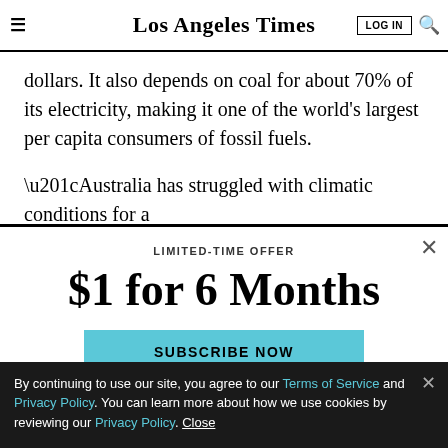Los Angeles Times
dollars. It also depends on coal for about 70% of its electricity, making it one of the world’s largest per capita consumers of fossil fuels.
“Australia has struggled with climatic conditions for a
LIMITED-TIME OFFER
$1 for 6 Months
SUBSCRIBE NOW
By continuing to use our site, you agree to our Terms of Service and Privacy Policy. You can learn more about how we use cookies by reviewing our Privacy Policy. Close